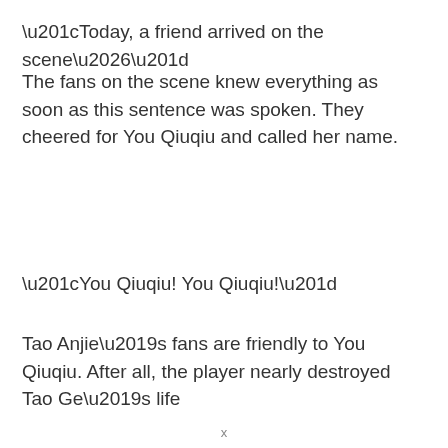“Today, a friend arrived on the scene…”
The fans on the scene knew everything as soon as this sentence was spoken. They cheered for You Qiuqiu and called her name.
“You Qiuqiu! You Qiuqiu!”
Tao Anjie’s fans are friendly to You Qiuqiu. After all, the player nearly destroyed Tao Ge’s life
x